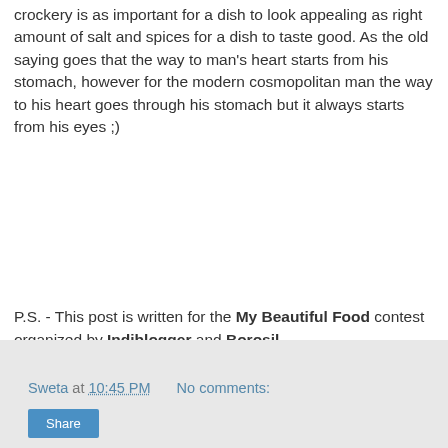crockery is as important for a dish to look appealing as right amount of salt and spices for a dish to taste good. As the old saying goes that the way to man's heart starts from his stomach, however for the modern cosmopolitan man the way to his heart goes through his stomach but it always starts from his eyes ;)
P.S. - This post is written for the My Beautiful Food contest organized by Indiblogger and Borosil.
[Figure (illustration): Handwritten cursive signature reading 'sweta' in black ink on white background with thin border]
Sweta at 10:45 PM   No comments:
Share